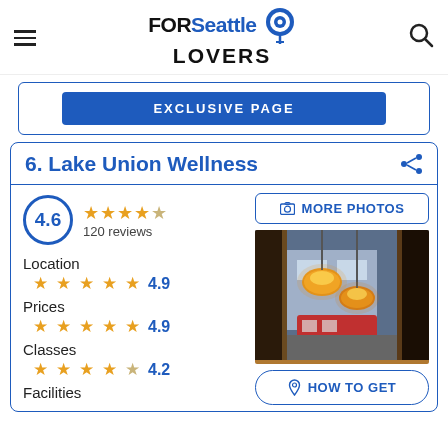FOR Seattle LOVERS
EXCLUSIVE PAGE
6. Lake Union Wellness
4.6 — 120 reviews
Location 4.9
Prices 4.9
Classes 4.2
Facilities
[Figure (photo): Interior photo showing warm orange pendant lamps with a street scene visible through a window]
MORE PHOTOS
HOW TO GET